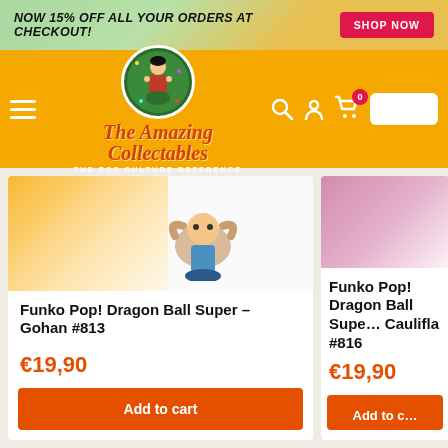NOW 15% OFF ALL YOUR ORDERS AT CHECKOUT! SHOP NOW
[Figure (logo): The Amazing Collectables logo — cartoon character in circle, script text and tagline 'The Pop Culture Reference']
[Figure (photo): Funko Pop Dragon Ball Super product image — Gohan #813 figure with box]
Funko Pop! Dragon Ball Super – Gohan #813
€19,90
Add to cart
[Figure (photo): Funko Pop Dragon Ball Super product image — Caulifla #816 figure with box]
Funko Pop! Dragon Ball Super – Caulifla #816
€19,90
Add to cart